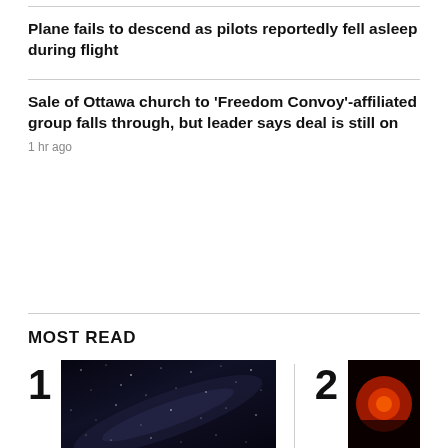Plane fails to descend as pilots reportedly fell asleep during flight
Sale of Ottawa church to 'Freedom Convoy'-affiliated group falls through, but leader says deal is still on
1 hr ago
MOST READ
[Figure (photo): Dark night sky photo showing the Milky Way galaxy]
[Figure (photo): Photo with red glowing light, dark background]